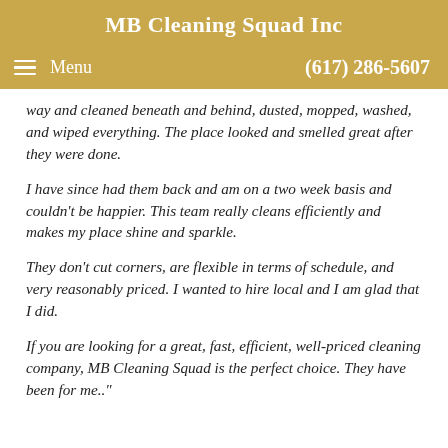MB Cleaning Squad Inc
Menu   (617) 286-5607
way and cleaned beneath and behind, dusted, mopped, washed, and wiped everything. The place looked and smelled great after they were done.
I have since had them back and am on a two week basis and couldn't be happier. This team really cleans efficiently and makes my place shine and sparkle.
They don't cut corners, are flexible in terms of schedule, and very reasonably priced. I wanted to hire local and I am glad that I did.
If you are looking for a great, fast, efficient, well-priced cleaning company, MB Cleaning Squad is the perfect choice. They have been for me.."